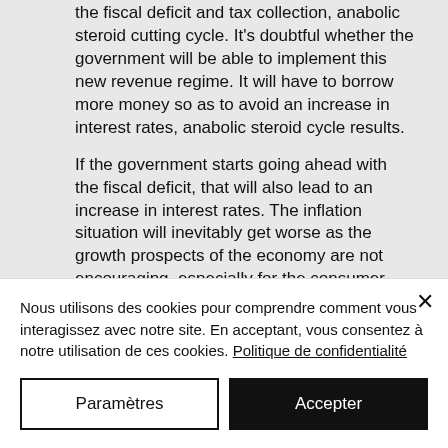the fiscal deficit and tax collection, anabolic steroid cutting cycle. It's doubtful whether the government will be able to implement this new revenue regime. It will have to borrow more money so as to avoid an increase in interest rates, anabolic steroid cycle results.
If the government starts going ahead with the fiscal deficit, that will also lead to an increase in interest rates. The inflation situation will inevitably get worse as the growth prospects of the economy are not encouraging, especially for the consumer sector. It will cause inflation to rise, financial cost of steroids.
Nous utilisons des cookies pour comprendre comment vous interagissez avec notre site. En acceptant, vous consentez à notre utilisation de ces cookies. Politique de confidentialité
Paramètres
Accepter